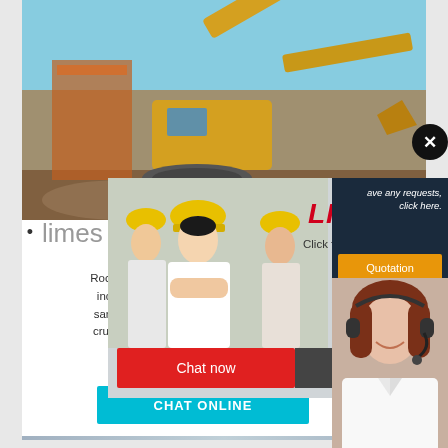[Figure (photo): Large yellow excavator/mining machinery on a construction site, clear blue sky background]
limes
[Figure (photo): Live chat popup overlay with workers wearing yellow hard hats, LIVE CHAT heading in red italic, 'Click for a Free Consultation' subtitle, Chat now (red) and Chat later (dark) buttons]
[Figure (photo): Right sidebar with customer service representative wearing headset, smiling, with Quotation, Enquiry buttons and email limingjlmofen@sina.com]
Rock And Rivers Mining Crusher Company; coffee grinder industrial type; crusher stone crusher plant in india; sampling crushing and screening machines; hero fa crushers used for producing frac sand sale; global p
CHAT ONLINE